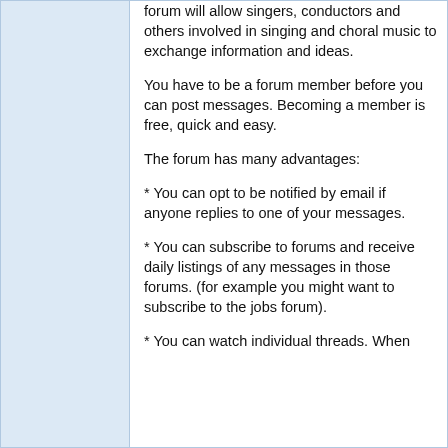forum will allow singers, conductors and others involved in singing and choral music to exchange information and ideas.
You have to be a forum member before you can post messages. Becoming a member is free, quick and easy.
The forum has many advantages:
* You can opt to be notified by email if anyone replies to one of your messages.
* You can subscribe to forums and receive daily listings of any messages in those forums. (for example you might want to subscribe to the jobs forum).
* You can watch individual threads. When